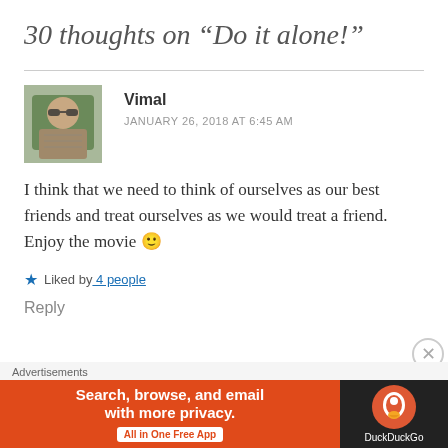30 thoughts on “Do it alone!”
Vimal
JANUARY 26, 2018 AT 6:45 AM
[Figure (photo): Avatar photo of commenter Vimal, a person wearing sunglasses seated in a car]
I think that we need to think of ourselves as our best friends and treat ourselves as we would treat a friend. Enjoy the movie 🙂
★ Liked by 4 people
Reply
Advertisements
[Figure (screenshot): DuckDuckGo advertisement banner: Search, browse, and email with more privacy. All in One Free App.]